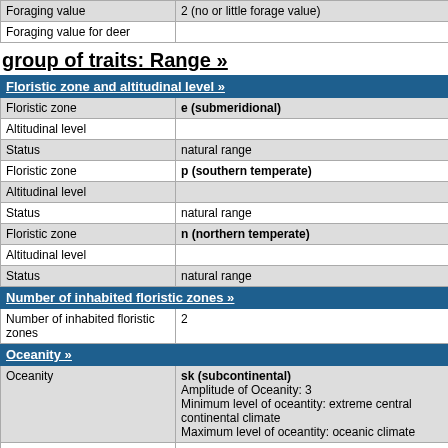| Foraging value | 2 (no or little forage value) |
| Foraging value for deer |  |
group of traits: Range »
| Floristic zone and altitudinal level » |  |
| Floristic zone | e (submeridional) |
| Altitudinal level |  |
| Status | natural range |
| Floristic zone | p (southern temperate) |
| Altitudinal level |  |
| Status | natural range |
| Floristic zone | n (northern temperate) |
| Altitudinal level |  |
| Status | natural range |
| Number of inhabited floristic zones » |  |
| Number of inhabited floristic zones | 2 |
| Oceanity » |  |
| Oceanity | sk (subcontinental)
Amplitude of Oceanity: 3
Minimum level of oceantity: extreme central continental climate
Maximum level of oceantity: oceanic climate |
| Status | natural range |
| Floristic region » |  |
| Floristic region | e (Europe)
Continent of floristic region: e (Europa) |
| Status | natural range |